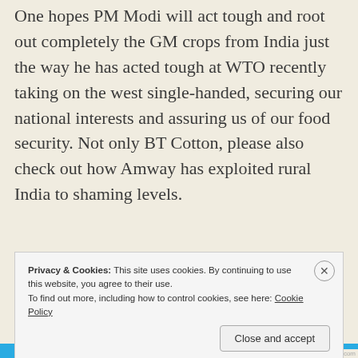these farming methods for decades. One hopes PM Modi will act tough and root out completely the GM crops from India just the way he has acted tough at WTO recently taking on the west single-handed, securing our national interests and assuring us of our food security. Not only BT Cotton, please also check out how Amway has exploited rural India to shaming levels.
Privacy & Cookies: This site uses cookies. By continuing to use this website, you agree to their use. To find out more, including how to control cookies, see here: Cookie Policy